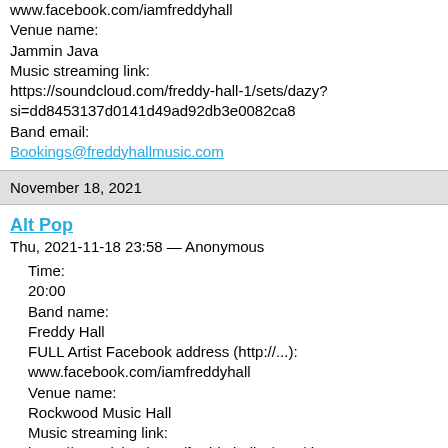www.facebook.com/iamfreddyhall
Venue name:
Jammin Java
Music streaming link:
https://soundcloud.com/freddy-hall-1/sets/dazy?si=dd8453137d0141d49ad92db3e0082ca8
Band email:
Bookings@freddyhallmusic.com
November 18, 2021
Alt Pop
Thu, 2021-11-18 23:58 — Anonymous
Time:
20:00
Band name:
Freddy Hall
FULL Artist Facebook address (http://...):
www.facebook.com/iamfreddyhall
Venue name:
Rockwood Music Hall
Music streaming link:
https://soundcloud.com/freddy-hall-1/sets/dazy?
si=dd8453137d0141d49ad92db3e0082ca8